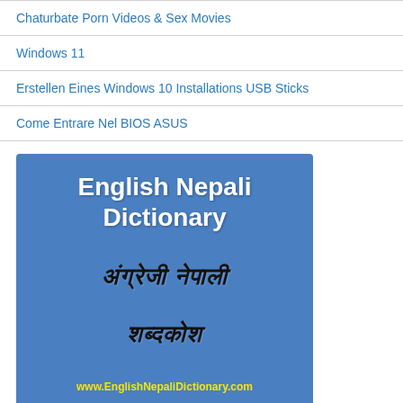Chaturbate Porn Videos & Sex Movies
Windows 11
Erstellen Eines Windows 10 Installations USB Sticks
Come Entrare Nel BIOS ASUS
[Figure (illustration): Blue banner/logo image for English Nepali Dictionary showing the title in English and Nepali script, with website URL www.EnglishNepaliDictionary.com in yellow at the bottom]